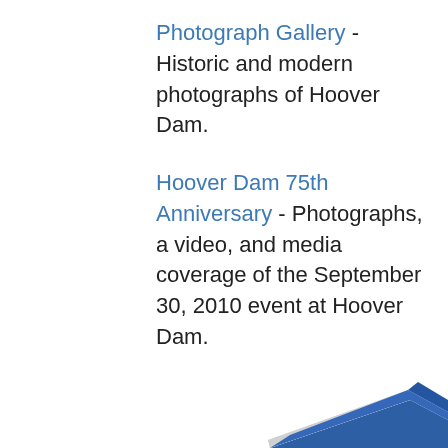Photograph Gallery - Historic and modern photographs of Hoover Dam.
Hoover Dam 75th Anniversary - Photographs, a video, and media coverage of the September 30, 2010 event at Hoover Dam.
Images taken by Lara Barker of Integral Engineering Co.
[Figure (photo): Partial view of a book with blue cover, shown at the bottom right of the page, cropped.]